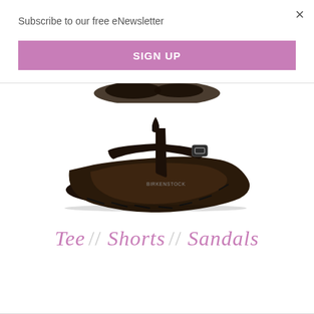Subscribe to our free eNewsletter
×
SIGN UP
[Figure (photo): Dark brown Birkenstock-style thong sandal with buckle strap and thick cork-like sole, viewed from above at a slight angle on white background. Partial view of similar sandal visible at top of page.]
Tee // Shorts // Sandals